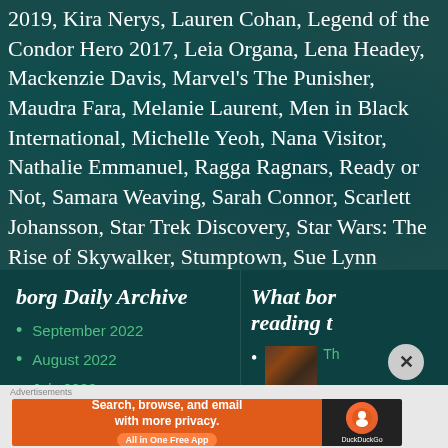2019, Kira Nerys, Lauren Cohan, Legend of the Condor Hero 2017, Leia Organa, Lena Headey, Mackenzie Davis, Marvel's The Punisher, Maudra Fara, Melanie Laurent, Men in Black International, Michelle Yeoh, Nana Visitor, Nathalie Emmanuel, Ragga Ragnars, Ready or Not, Samara Weaving, Sarah Connor, Scarlett Johansson, Star Trek Discovery, Star Wars: The Rise of Skywalker, Stumptown, Sue Lynn Blackbird, Tantoo Cardinal, Terminator: Dark Fate, Tessa Thompson, The Aeronauts, The Dark Crystal: Age of Resistance, The Mandalorian, Vanessa Kirby, Vikings, Vio Mi, Whiskey Cavalier, Wu Assassins, Yitong Ling, Zan Hui
borg Daily Archive
September 2022
August 2022
July 2022
What borg reading t
[Figure (photo): Thumbnail image of media content]
Th
Advertisements
Search, browse, and email with more privacy. All in One Free App — DuckDuckGo